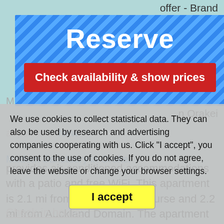offer - Brand
marama Underwater n Orakei
[Figure (screenshot): Blue striped 'Reserve' modal dialog with red 'Check availability & show prices' button]
provides air-conditioned accommodations with a patio and free WiFi. This apartment is 2.1 mi from Ellerslie Racecourse and 2.2 mi from Auckland Domain. The apartment is equipped with 1 bedroom, a TV and a fully equipped kitchen that provides guests with a dishwasher, a microwave, a washing machine, a fridge and an oven. Towels and
We use cookies to collect statistical data. They can also be used by research and advertising companies cooperating with us. Click "I accept", you consent to the use of cookies. If you do not agree, leave the website or change your browser settings.
I accept
Modern Sanctuary in Orakei
Check-in hours: